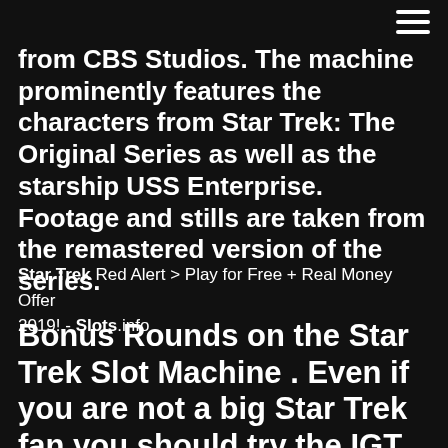from CBS Studios. The machine prominently features the characters from Star Trek: The Original Series as well as the starship USS Enterprise. Footage and stills are taken from the remastered version of the series.
Star Trek Red Alert > Play for Free + Real Money Offer 2019! - Slots.info
Bonus Rounds on the Star Trek Slot Machine . Even if you are not a big Star Trek fan you should try the IGT Star Trek slots, including Star Trek: Against All Odds The